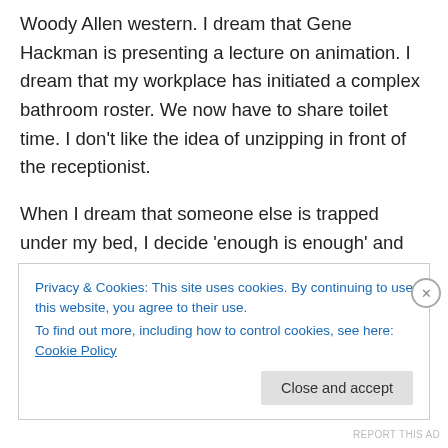Woody Allen western. I dream that Gene Hackman is presenting a lecture on animation. I dream that my workplace has initiated a complex bathroom roster. We now have to share toilet time. I don't like the idea of unzipping in front of the receptionist.
When I dream that someone else is trapped under my bed, I decide 'enough is enough' and give up trying to sleep. I lay in the dark listening to the clock tick and the muffled sounds of television from the next room. As midnight approaches, I hear people in the next street
Privacy & Cookies: This site uses cookies. By continuing to use this website, you agree to their use.
To find out more, including how to control cookies, see here: Cookie Policy
Close and accept